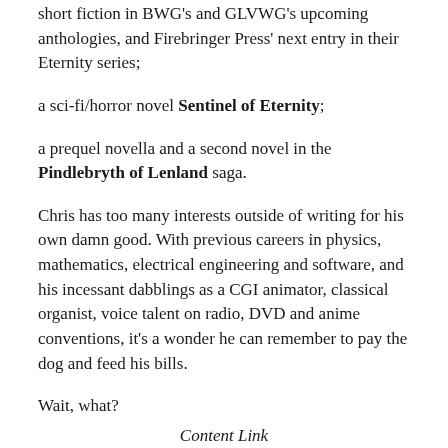short fiction in BWG's and GLVWG's upcoming anthologies, and Firebringer Press' next entry in their Eternity series;
a sci-fi/horror novel Sentinel of Eternity;
a prequel novella and a second novel in the Pindlebryth of Lenland saga.
Chris has too many interests outside of writing for his own damn good. With previous careers in physics, mathematics, electrical engineering and software, and his incessant dabblings as a CGI animator, classical organist, voice talent on radio, DVD and anime conventions, it's a wonder he can remember to pay the dog and feed his bills.
Wait, what?
Content Link